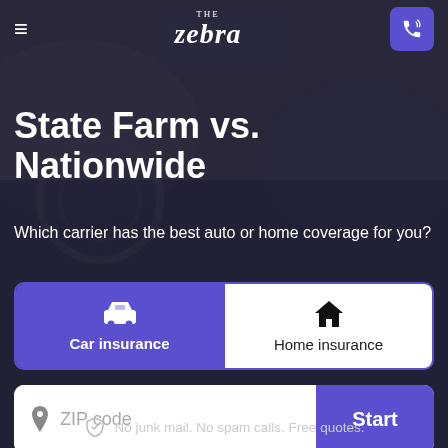THE Zebra — navigation header with hamburger menu and phone button
State Farm vs. Nationwide
Which carrier has the best auto or home coverage for you?
Car insurance | Home insurance (tab selector)
ZIP code — Start
No junk mail. No spam calls. Free quotes.